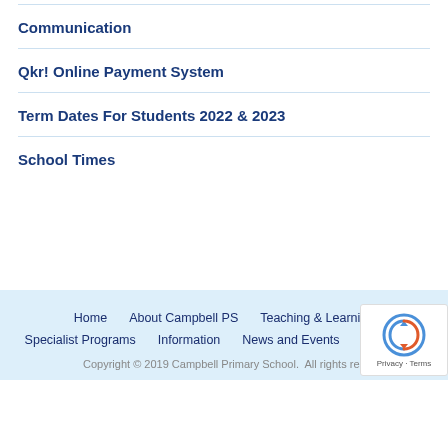Communication
Qkr! Online Payment System
Term Dates For Students 2022 & 2023
School Times
Home  About Campbell PS  Teaching & Learning  Specialist Programs  Information  News and Events  Contact Us
Copyright © 2019 Campbell Primary School. All rights reserved.